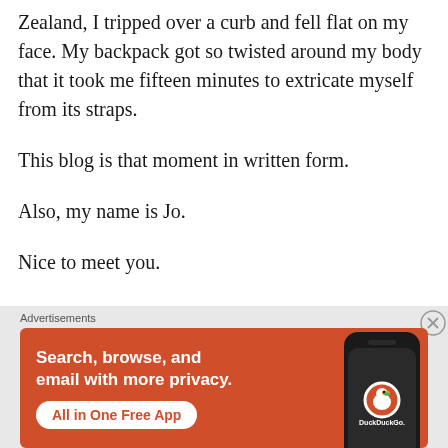Zealand, I tripped over a curb and fell flat on my face. My backpack got so twisted around my body that it took me fifteen minutes to extricate myself from its straps.
This blog is that moment in written form.
Also, my name is Jo.
Nice to meet you.
[Figure (other): DuckDuckGo advertisement banner with orange background. Text reads: 'Search, browse, and email with more privacy. All in One Free App' with a DuckDuckGo logo and phone image on the right.]